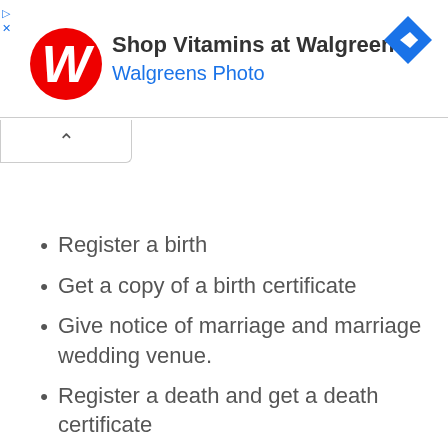[Figure (other): Walgreens advertisement banner with logo, 'Shop Vitamins at Walgreens' text, 'Walgreens Photo' subtitle, and a blue direction arrow icon]
Register a birth
Get a copy of a birth certificate
Give notice of marriage and marriage wedding venue.
Register a death and get a death certificate
Register a still-birth